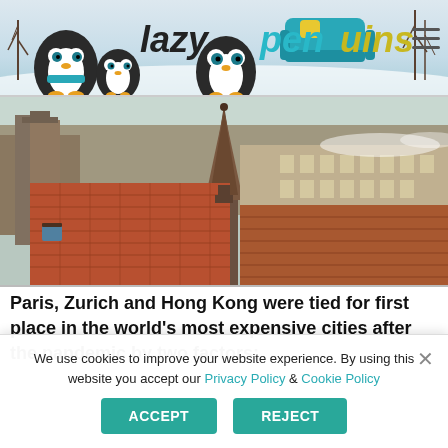lazy penguins
[Figure (photo): Aerial view of Zurich rooftops showing red-tiled roofs, a church spire, and European urban architecture]
Paris, Zurich and Hong Kong were tied for first place in the world's most expensive cities after the pandemic by two factors:
We use cookies to improve your website experience. By using this website you accept our Privacy Policy & Cookie Policy
ACCEPT   REJECT